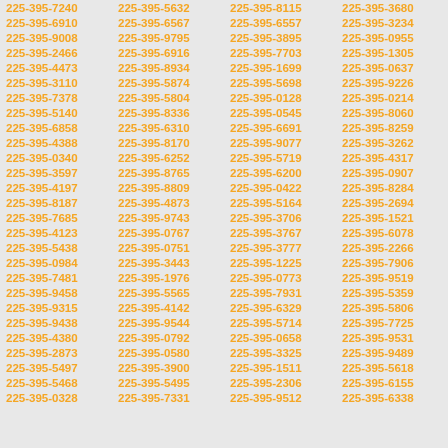| 225-395-7240 | 225-395-5632 | 225-395-8115 | 225-395-3680 |
| 225-395-6910 | 225-395-6567 | 225-395-6557 | 225-395-3234 |
| 225-395-9008 | 225-395-9795 | 225-395-3895 | 225-395-0955 |
| 225-395-2466 | 225-395-6916 | 225-395-7703 | 225-395-1305 |
| 225-395-4473 | 225-395-8934 | 225-395-1699 | 225-395-0637 |
| 225-395-3110 | 225-395-5874 | 225-395-5698 | 225-395-9226 |
| 225-395-7378 | 225-395-5804 | 225-395-0128 | 225-395-0214 |
| 225-395-5140 | 225-395-8336 | 225-395-0545 | 225-395-8060 |
| 225-395-6858 | 225-395-6310 | 225-395-6691 | 225-395-8259 |
| 225-395-4388 | 225-395-8170 | 225-395-9077 | 225-395-3262 |
| 225-395-0340 | 225-395-6252 | 225-395-5719 | 225-395-4317 |
| 225-395-3597 | 225-395-8765 | 225-395-6200 | 225-395-0907 |
| 225-395-4197 | 225-395-8809 | 225-395-0422 | 225-395-8284 |
| 225-395-8187 | 225-395-4873 | 225-395-5164 | 225-395-2694 |
| 225-395-7685 | 225-395-9743 | 225-395-3706 | 225-395-1521 |
| 225-395-4123 | 225-395-0767 | 225-395-3767 | 225-395-6078 |
| 225-395-5438 | 225-395-0751 | 225-395-3777 | 225-395-2266 |
| 225-395-0984 | 225-395-3443 | 225-395-1225 | 225-395-7906 |
| 225-395-7481 | 225-395-1976 | 225-395-0773 | 225-395-9519 |
| 225-395-9458 | 225-395-5565 | 225-395-7931 | 225-395-5359 |
| 225-395-9315 | 225-395-4142 | 225-395-6329 | 225-395-5806 |
| 225-395-9438 | 225-395-9544 | 225-395-5714 | 225-395-7725 |
| 225-395-4380 | 225-395-0792 | 225-395-0658 | 225-395-9531 |
| 225-395-2873 | 225-395-0580 | 225-395-3325 | 225-395-9489 |
| 225-395-5497 | 225-395-3900 | 225-395-1511 | 225-395-5618 |
| 225-395-5468 | 225-395-5495 | 225-395-2306 | 225-395-6155 |
| 225-395-0328 | 225-395-7331 | 225-395-9512 | 225-395-6338 |